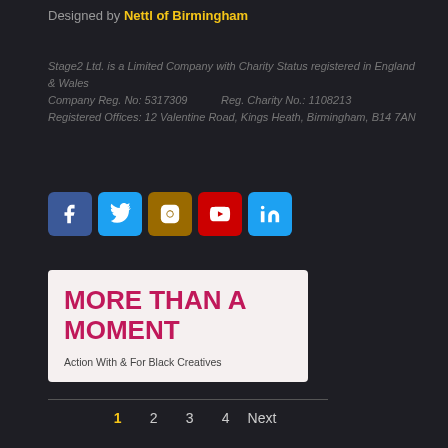Designed by Nettl of Birmingham
Stage2 Ltd. is a Limited Company with Charity Status registered in England & Wales Company Reg. No: 5317309    Reg. Charity No.: 1108213 Registered Offices: 12 Valentine Road, Kings Heath, Birmingham, B14 7AN
[Figure (infographic): Row of 5 social media icon buttons: Facebook (blue), Twitter (light blue), Instagram (brown/gold), YouTube (red), LinkedIn (light blue)]
[Figure (infographic): Card with white/light background containing bold crimson text 'MORE THAN A MOMENT' and subtitle 'Action With & For Black Creatives']
1  2  3  4  Next